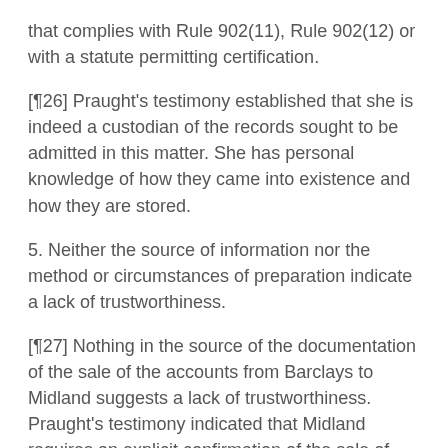that complies with Rule 902(11), Rule 902(12) or with a statute permitting certification.
[¶26] Praught's testimony established that she is indeed a custodian of the records sought to be admitted in this matter. She has personal knowledge of how they came into existence and how they are stored.
5. Neither the source of information nor the method or circumstances of preparation indicate a lack of trustworthiness.
[¶27] Nothing in the source of the documentation of the sale of the accounts from Barclays to Midland suggests a lack of trustworthiness. Praught's testimony indicated that Midland requires an explicit confirmation of the sale of accounts receivable as part of its routine practice. The transactional records are clear upon their face. Walton's own admissions confirm the accuracy of the records reflecting his particular